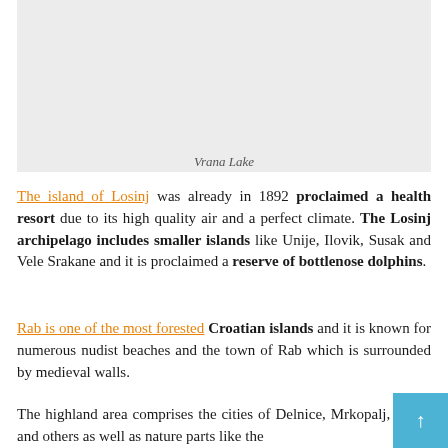[Figure (photo): Photo of Vrana Lake — a light grey placeholder rectangle representing the lake image]
Vrana Lake
The island of Losinj was already in 1892 proclaimed a health resort due to its high quality air and a perfect climate. The Losinj archipelago includes smaller islands like Unije, Ilovik, Susak and Vele Srakane and it is proclaimed a reserve of bottlenose dolphins.
Rab is one of the most forested Croatian islands and it is known for numerous nudist beaches and the town of Rab which is surrounded by medieval walls.
The highland area comprises the cities of Delnice, Mrkopalj, Cabar and others as well as nature parts like the